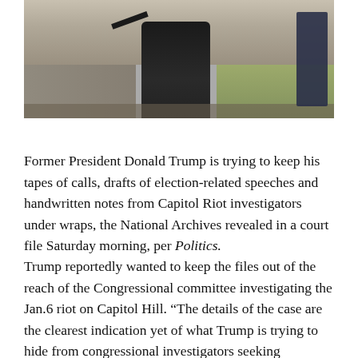[Figure (photo): Partial photo showing a person in dark clothing standing outdoors, with others visible in the background.]
Former President Donald Trump is trying to keep his tapes of calls, drafts of election-related speeches and handwritten notes from Capitol Riot investigators under wraps, the National Archives revealed in a court file Saturday morning, per Politics.
Trump reportedly wanted to keep the files out of the reach of the Congressional committee investigating the Jan.6 riot on Capitol Hill. “The details of the case are the clearest indication yet of what Trump is trying to hide from congressional investigators seeking information about his efforts to overturn the 2020 election results and his activities on the days around before and after Trump’s instigation and...